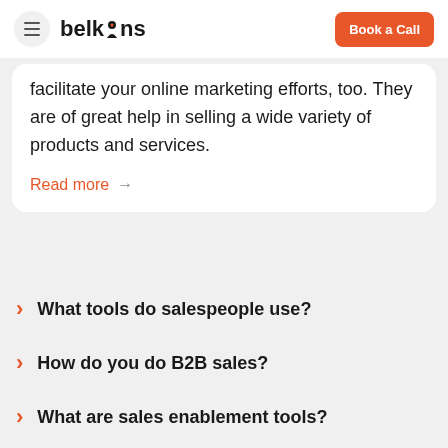belkins | Book a Call
facilitate your online marketing efforts, too. They are of great help in selling a wide variety of products and services.
Read more →
What tools do salespeople use?
How do you do B2B sales?
What are sales enablement tools?